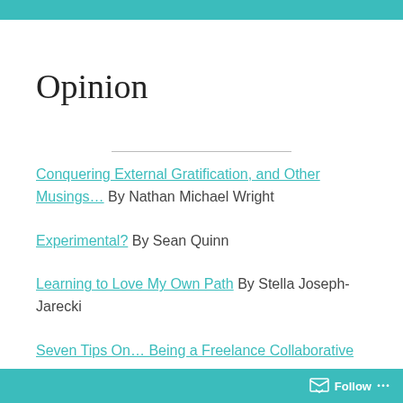Opinion
Conquering External Gratification, and Other Musings… By Nathan Michael Wright
Experimental? By Sean Quinn
Learning to Love My Own Path By Stella Joseph-Jarecki
Seven Tips On… Being a Freelance Collaborative
Follow